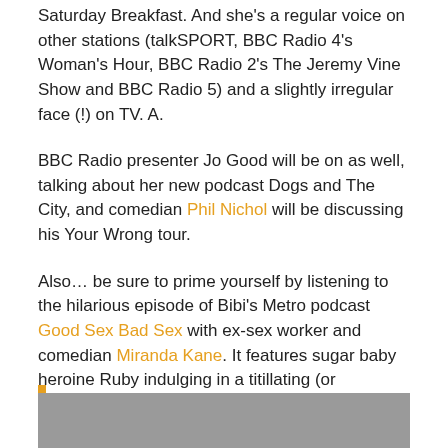Saturday Breakfast. And she's a regular voice on other stations (talkSPORT, BBC Radio 4's Woman's Hour, BBC Radio 2's The Jeremy Vine Show and BBC Radio 5) and a slightly irregular face (!) on TV. A.
BBC Radio presenter Jo Good will be on as well, talking about her new podcast Dogs and The City, and comedian Phil Nichol will be discussing his Your Wrong tour.
Also… be sure to prime yourself by listening to the hilarious episode of Bibi's Metro podcast Good Sex Bad Sex with ex-sex worker and comedian Miranda Kane. It features sugar baby heroine Ruby indulging in a titillating (or tintillating? You'll have to listen to the podcast to get that in-joke) tête-à-tête –
[Figure (photo): Gray image box at the bottom of the page, partially visible]